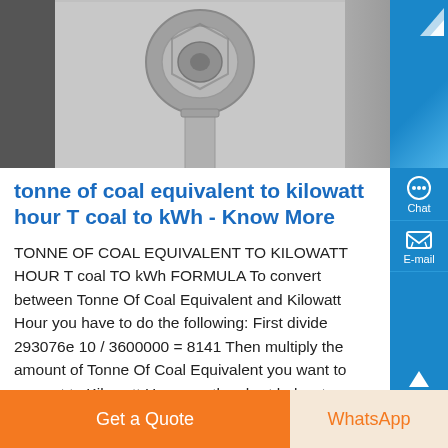[Figure (photo): Grayscale industrial/mechanical image showing a bolt or mechanical fastener component against a light gray background, with dark regions on left and right sides.]
tonne of coal equivalent to kilowatt hour T coal to kWh - Know More
TONNE OF COAL EQUIVALENT TO KILOWATT HOUR T coal TO kWh FORMULA To convert between Tonne Of Coal Equivalent and Kilowatt Hour you have to do the following: First divide 293076e 10 / 3600000 = 8141 Then multiply the amount of Tonne Of Coal Equivalent you want to convert to Kilowatt Hour use the chart below to guide yo
Get a Quote
WhatsApp